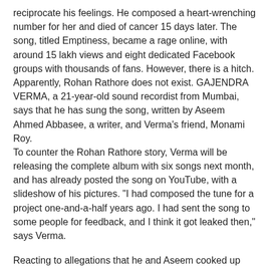reciprocate his feelings. He composed a heart-wrenching number for her and died of cancer 15 days later. The song, titled Emptiness, became a rage online, with around 15 lakh views and eight dedicated Facebook groups with thousands of fans. However, there is a hitch. Apparently, Rohan Rathore does not exist. GAJENDRA VERMA, a 21-year-old sound recordist from Mumbai, says that he has sung the song, written by Aseem Ahmed Abbasee, a writer, and Verma's friend, Monami Roy.
To counter the Rohan Rathore story, Verma will be releasing the complete album with six songs next month, and has already posted the song on YouTube, with a slideshow of his pictures. "I had composed the tune for a project one-and-a-half years ago. I had sent the song to some people for feedback, and I think it got leaked then," says Verma.
Reacting to allegations that he and Aseem cooked up this story to publicise the song and increase downloads, he says, "Why would I publicise my song using someone else's name?" He adds, "I feel really bad when I see someone else's name on my song. I don't even know how Rohan Rathore's name got attached to it. I know that the voice is